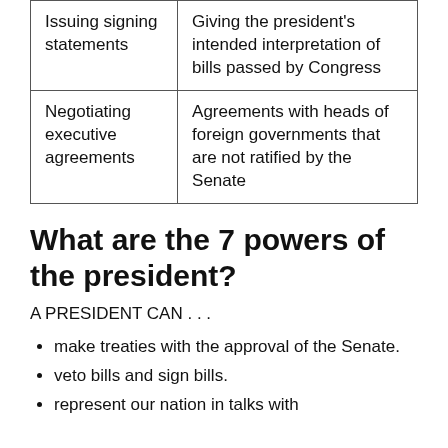| Issuing signing statements | Giving the president's intended interpretation of bills passed by Congress |
| Negotiating executive agreements | Agreements with heads of foreign governments that are not ratified by the Senate |
What are the 7 powers of the president?
A PRESIDENT CAN . . .
make treaties with the approval of the Senate.
veto bills and sign bills.
represent our nation in talks with